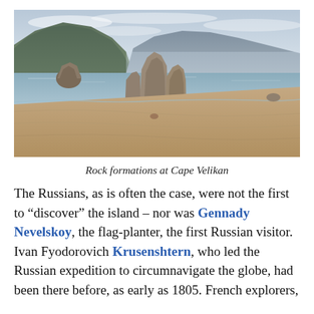[Figure (photo): Coastal beach scene with large rock formations standing in calm water, mountains in the background under a cloudy sky. Sandy shoreline in the foreground. Cape Velikan.]
Rock formations at Cape Velikan
The Russians, as is often the case, were not the first to “discover” the island – nor was Gennady Nevelskoy, the flag-planter, the first Russian visitor. Ivan Fyodorovich Krusenshtern, who led the Russian expedition to circumnavigate the globe, had been there before, as early as 1805. French explorers,